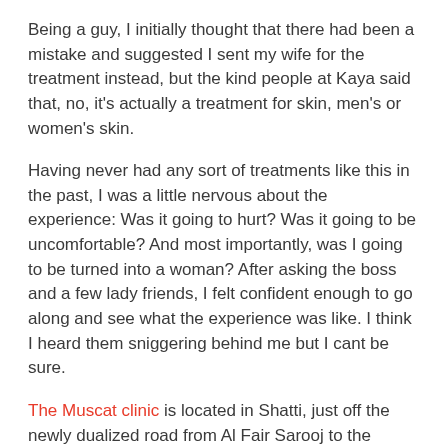Being a guy, I initially thought that there had been a mistake and suggested I sent my wife for the treatment instead, but the kind people at Kaya said that, no, it's actually a treatment for skin, men's or women's skin.
Having never had any sort of treatments like this in the past, I was a little nervous about the experience: Was it going to hurt? Was it going to be uncomfortable? And most importantly, was I going to be turned into a woman? After asking the boss and a few lady friends, I felt confident enough to go along and see what the experience was like. I think I heard them sniggering behind me but I cant be sure.
The Muscat clinic is located in Shatti, just off the newly dualized road from Al Fair Sarooj to the Bowsher Police station - it is on Way 3013, Villa 879. Firstly, parking is fairly cramped out front, but if you go to the rear of the building, there is a lot more parking space there.